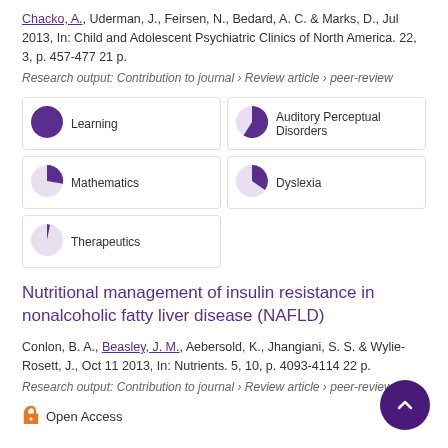Chacko, A., Uderman, J., Feirsen, N., Bedard, A. C. & Marks, D., Jul 2013, In: Child and Adolescent Psychiatric Clinics of North America. 22, 3, p. 457-477 21 p.
Research output: Contribution to journal › Review article › peer-review
[Figure (infographic): Five keyword badges arranged in a 2-column grid: Learning (100%), Auditory Perceptual Disorders (~75%), Mathematics (~65%), Dyslexia (~55%), Therapeutics (~20%)]
Nutritional management of insulin resistance in nonalcoholic fatty liver disease (NAFLD)
Conlon, B. A., Beasley, J. M., Aebersold, K., Jhangiani, S. S. & Wylie-Rosett, J., Oct 11 2013, In: Nutrients. 5, 10, p. 4093-4114 22 p.
Research output: Contribution to journal › Review article › peer-review
Open Access